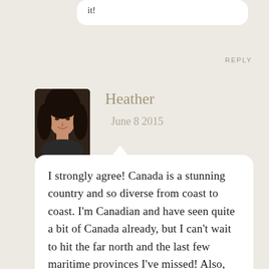it!
REPLY
Heather
June 8 2015
[Figure (photo): Avatar photo of Heather, a woman with dark hair, smiling, against a dark background]
I strongly agree! Canada is a stunning country and so diverse from coast to coast. I'm Canadian and have seen quite a bit of Canada already, but I can't wait to hit the far north and the last few maritime provinces I've missed! Also, I'm currently travelling Australia and started a blog to share my experiences. Check it out